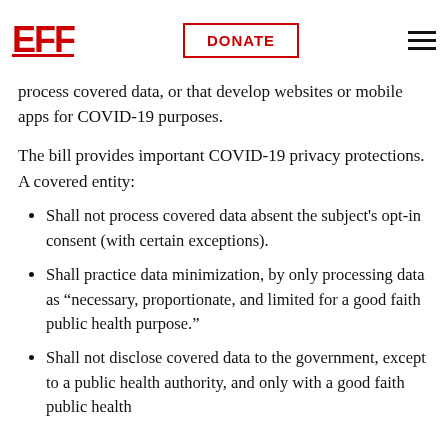EFF | DONATE
by a personal device). The bill applies to government and private entities that electronically process covered data, or that develop websites or mobile apps for COVID-19 purposes.
The bill provides important COVID-19 privacy protections. A covered entity:
Shall not process covered data absent the subject’s opt-in consent (with certain exceptions).
Shall practice data minimization, by only processing data as “necessary, proportionate, and limited for a good faith public health purpose.”
Shall not disclose covered data to the government, except to a public health authority, and only with a good faith public health